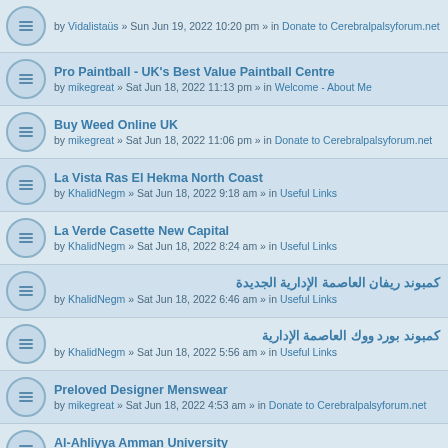by Vidalistaüs » Sun Jun 19, 2022 10:20 pm » in Donate to Cerebralpalsyforum.net
Pro Paintball - UK's Best Value Paintball Centre
by mikegreat » Sat Jun 18, 2022 11:13 pm » in Welcome - About Me
Buy Weed Online UK
by mikegreat » Sat Jun 18, 2022 11:06 pm » in Donate to Cerebralpalsyforum.net
La Vista Ras El Hekma North Coast
by KhalidNegm » Sat Jun 18, 2022 9:18 am » in Useful Links
La Verde Casette New Capital
by KhalidNegm » Sat Jun 18, 2022 8:24 am » in Useful Links
كمبوند ريفان العاصمة الإدارية الجديدة
by KhalidNegm » Sat Jun 18, 2022 6:46 am » in Useful Links
كمبوند بورد ووك العاصمة الإدارية
by KhalidNegm » Sat Jun 18, 2022 5:56 am » in Useful Links
Preloved Designer Menswear
by mikegreat » Sat Jun 18, 2022 4:53 am » in Donate to Cerebralpalsyforum.net
Al-Ahliyya Amman University
by essentia231 » Sat Jun 18, 2022 4:39 am » in Donate to Cerebralpalsyforum.net
Citizen Seven
by mikegreat » Sat Jun 18, 2022 3:38 am » in Donate to Cerebralpalsyforum.net
ннн
by essentia231 » Sat Jun 18, 2022 1:09 am » in Donate to Cerebralpalsyforum.net